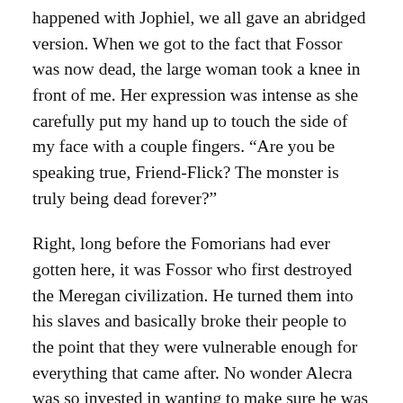happened with Jophiel, we all gave an abridged version. When we got to the fact that Fossor was now dead, the large woman took a knee in front of me. Her expression was intense as she carefully put my hand up to touch the side of my face with a couple fingers. “Are you be speaking true, Friend-Flick? The monster is truly being dead forever?”
Right, long before the Fomorians had ever gotten here, it was Fossor who first destroyed the Meregan civilization. He turned them into his slaves and basically broke their people to the point that they were vulnerable enough for everything that came after. No wonder Alecra was so invested in wanting to make sure he was actually dead. This meant a lot to her, to all of them.
So, taking a deep breath, I nodded. My voice was quiet